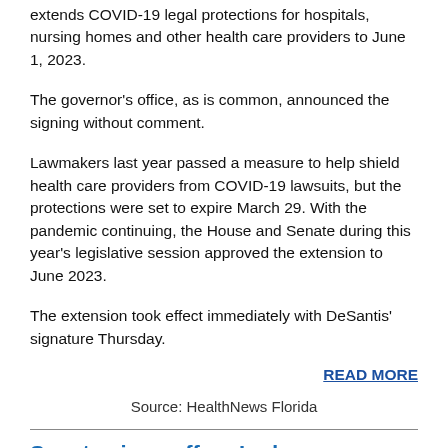extends COVID-19 legal protections for hospitals, nursing homes and other health care providers to June 1, 2023.
The governor's office, as is common, announced the signing without comment.
Lawmakers last year passed a measure to help shield health care providers from COVID-19 lawsuits, but the protections were set to expire March 29. With the pandemic continuing, the House and Senate during this year's legislative session approved the extension to June 2023.
The extension took effect immediately with DeSantis' signature Thursday.
READ MORE
Source: HealthNews Florida
Senate signs off on Ladapo as Florida's